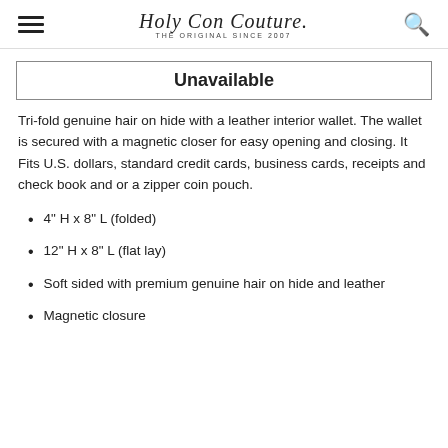Holy Con Couture. THE ORIGINAL SINCE 2007
Unavailable
Tri-fold genuine hair on hide with a leather interior wallet. The wallet is secured with a magnetic closer for easy opening and closing. It Fits U.S. dollars, standard credit cards, business cards, receipts and check book and or a zipper coin pouch.
4" H x 8" L (folded)
12" H x 8" L (flat lay)
Soft sided with premium genuine hair on hide and leather
Magnetic closure